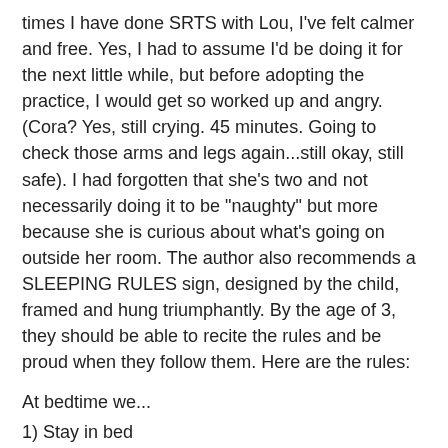times I have done SRTS with Lou, I've felt calmer and free. Yes, I had to assume I'd be doing it for the next little while, but before adopting the practice, I would get so worked up and angry. (Cora? Yes, still crying. 45 minutes. Going to check those arms and legs again...still okay, still safe). I had forgotten that she's two and not necessarily doing it to be "naughty" but more because she is curious about what's going on outside her room. The author also recommends a SLEEPING RULES sign, designed by the child, framed and hung triumphantly. By the age of 3, they should be able to recite the rules and be proud when they follow them. Here are the rules:
At bedtime we...
1) Stay in bed
2) Close our eyes
3) Stay very quiet
4) Go to sleep
We'll be making our poster soon. WOAH. She's quiet! Cora is quiet. Six minutes shy of one very difficult hour. I love you Cora babe. I love you so much. I let you cry yourself to sleep